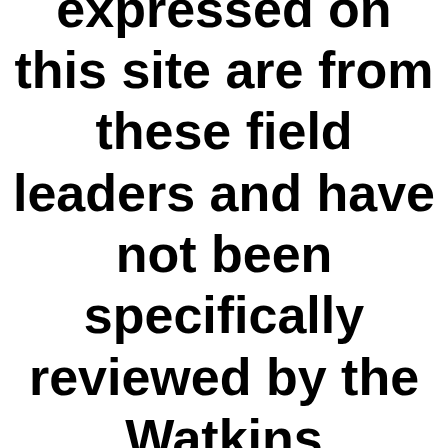and opinions expressed on this site are from these field leaders and have not been specifically reviewed by the Watkins Company.